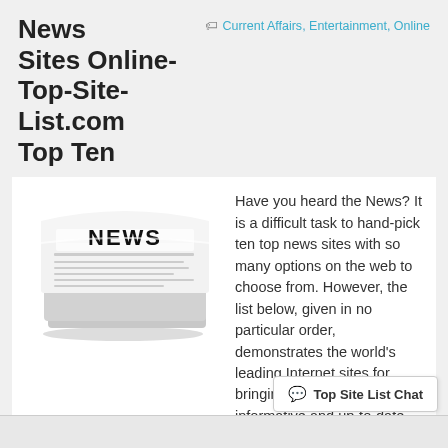News Sites Online- Top-Site-List.com Top Ten
Current Affairs, Entertainment, Online
[Figure (photo): A folded newspaper with NEWS printed as headline in bold black text on the front page.]
Have you heard the News? It is a difficult task to hand-pick ten top news sites with so many options on the web to choose from. However, the list below, given in no particular order, demonstrates the world's leading Internet sites for bringing unbiased, informative and up-to-date current affairs information from around the globe. The list is based on the popularity of ratings and highest volume of readers within the World Wide Web communities.   1. CNN.com – http://edition.cnn.com/ CNN …
Continue reading
Top Site List Chat